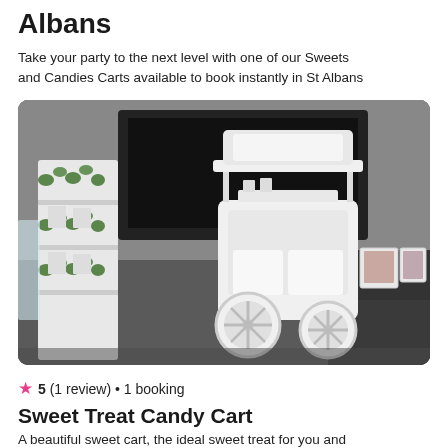Albans
Take your party to the next level with one of our Sweets and Candies Carts available to book instantly in St Albans
[Figure (photo): A white ornate candy cart with heart-shaped wheel cutouts and a decorative top, displayed in a room alongside a white shelving unit decorated with green garlands and flowers. Various items and photo frames are visible in the background.]
5 (1 review) • 1 booking
Sweet Treat Candy Cart
A beautiful sweet cart, the ideal sweet treat for you and